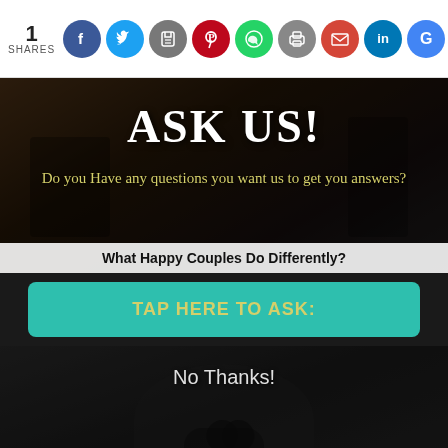1 SHARES
[Figure (infographic): Social sharing icons: Facebook, Twitter, Save, Pinterest, WhatsApp, Print, Gmail, LinkedIn, Google+]
[Figure (photo): Dark photo of people outdoors with overlay text: ASK US! and subtitle about questions]
ASK US!
Do you Have any questions you want us to get you answers?
What Happy Couples Do Differently?
TAP HERE TO ASK:
[Figure (photo): Dark photo of a man looking through binoculars with 'No Thanks!' text overlay]
No Thanks!